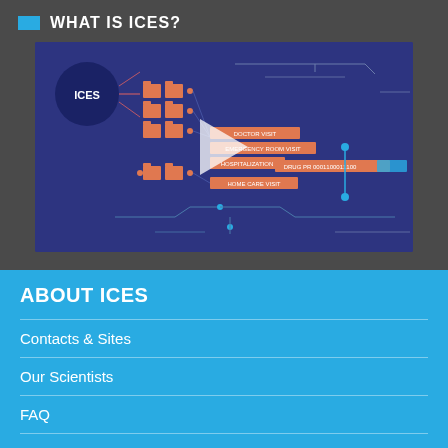WHAT IS ICES?
[Figure (screenshot): Video thumbnail showing ICES data flow diagram on dark blue background with orange folder icons, labels: DOCTOR VISIT, EMERGENCY ROOM VISIT, HOSPITALIZATION, HOME CARE VISIT, DRUG PR...0001100011100, and ICES circle logo. White play button in center.]
ABOUT ICES
Contacts & Sites
Our Scientists
FAQ
Careers